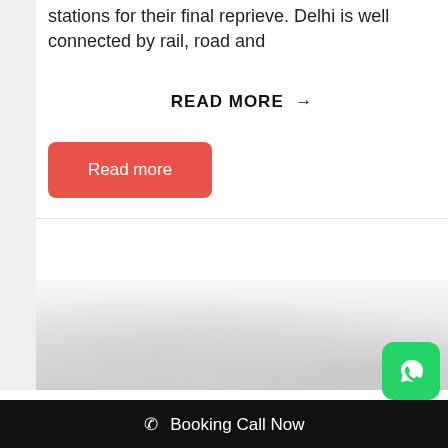stations for their final reprieve. Delhi is well connected by rail, road and
READ MORE →
Read more
[Figure (photo): Blurred grey outdoor scene, likely winter foliage or landscape, washed out and desaturated]
[Figure (logo): WhatsApp logo button (green rounded square with white phone/chat icon)]
📞 Booking Call Now